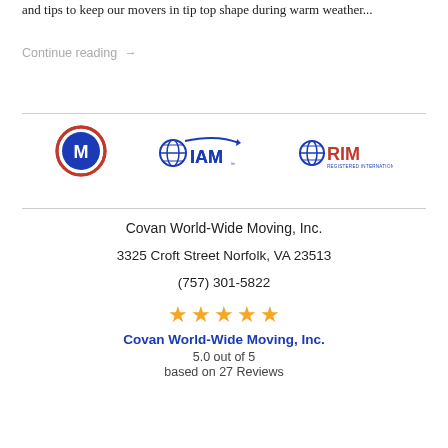and tips to keep our movers in tip top shape during warm weather...
Continue reading →
[Figure (logo): Three logos: a circular red and blue logo with letter M, IAM (International Association of Movers) blue logo, and RIM (Registered International Mover) blue and red globe logo]
Covan World-Wide Moving, Inc.
3325 Croft Street Norfolk, VA 23513
(757) 301-5822
[Figure (other): Five gold/yellow star rating icons]
Covan World-Wide Moving, Inc.
5.0 out of 5
based on 27 Reviews